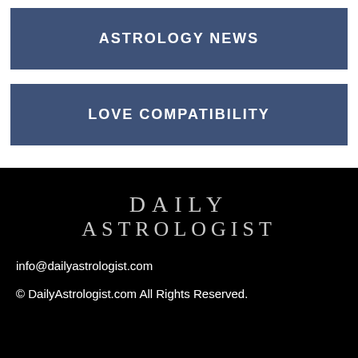ASTROLOGY NEWS
LOVE COMPATIBILITY
[Figure (logo): Daily Astrologist text logo in light grey on black background]
info@dailyastrologist.com
© DailyAstrologist.com All Rights Reserved.